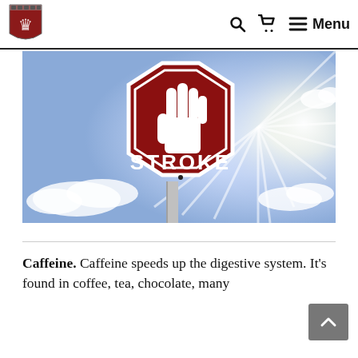Harvard Health Publishing — navigation bar with logo, search, cart, and menu icons
[Figure (photo): A red octagonal stop sign with a white hand silhouette and the word STROKE in white text, mounted on a metal pole, against a bright blue sky with sunbeams and clouds.]
Caffeine. Caffeine speeds up the digestive system. It's found in coffee, tea, chocolate, many